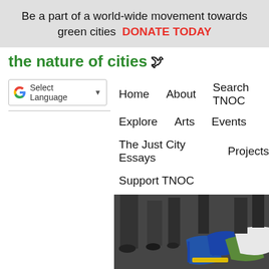Be a part of a world-wide movement towards green cities  DONATE TODAY
the nature of cities 🕊
Select Language
Home
About
Search TNOC
Explore
Arts
Events
The Just City Essays
Projects
Support TNOC
[Figure (photo): Photo showing people at what appears to be Occupy Wall Street protest, close-up of bags and clothing on ground with people's legs visible in background]
Figure 3. The Occupy Wall Street pr... City as a form of public space activis...